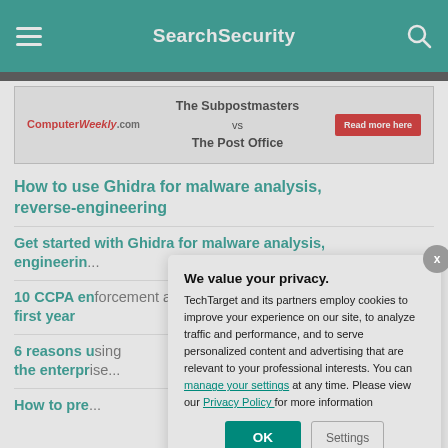SearchSecurity
[Figure (screenshot): Ad banner: ComputerWeekly.com — The Subpostmasters vs The Post Office — Read more here]
How to use Ghidra for malware analysis, reverse-engineering
Get started with Ghidra for malware analysis, reverse-engineering
10 CCPA enforcement actions to know from first year
6 reasons using the enterprise...
How to pre...
We value your privacy. TechTarget and its partners employ cookies to improve your experience on our site, to analyze traffic and performance, and to serve personalized content and advertising that are relevant to your professional interests. You can manage your settings at any time. Please view our Privacy Policy for more information